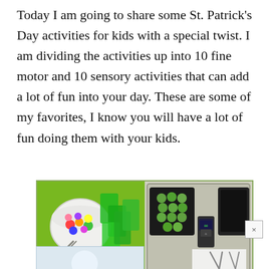Today I am going to share some St. Patrick's Day activities for kids with a special twist. I am dividing the activities up into 10 fine motor and 10 sensory activities that can add a lot of fun into your day. These are some of my favorites, I know you will have a lot of fun doing them with your kids.
[Figure (photo): Two side-by-side photos: left shows a white bowl with colorful pom-poms and green plastic cups on a green background with tweezers; right shows a metal tray with green marbles in a black container, a digital scale, and another black container.]
[Figure (photo): Partial images at bottom: left shows a partial light-blue themed activity photo; right shows what appears to be a partial image of tongs or tweezers.]